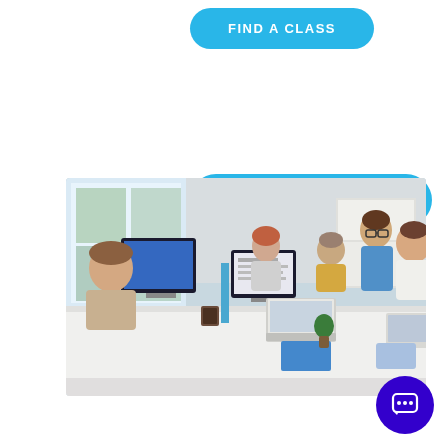[Figure (other): Blue rounded button with white bold uppercase text: FIND A CLASS]
[Figure (other): Blue pill-shaped button with white bold uppercase text: CIOTSP OUTLINE]
[Figure (photo): Photo of people working at computers in a classroom or office setting. Multiple monitors visible, people collaborating around a shared desk.]
[Figure (other): Dark blue circular chat/support button in bottom-right corner with speech bubble icon]